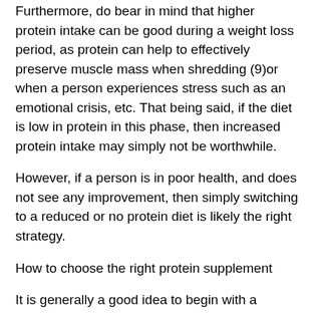Furthermore, do bear in mind that higher protein intake can be good during a weight loss period, as protein can help to effectively preserve muscle mass when shredding (9)or when a person experiences stress such as an emotional crisis, etc. That being said, if the diet is low in protein in this phase, then increased protein intake may simply not be worthwhile.
However, if a person is in poor health, and does not see any improvement, then simply switching to a reduced or no protein diet is likely the right strategy.
How to choose the right protein supplement
It is generally a good idea to begin with a supplement that is not too high in protein. An example of a good protein source is the egg protein blend (100% whole egg yolk and skimmed with water) (10)